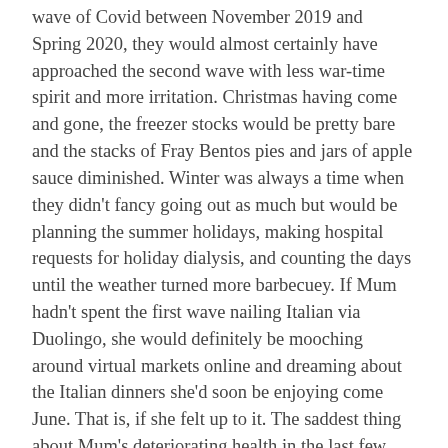wave of Covid between November 2019 and Spring 2020, they would almost certainly have approached the second wave with less war-time spirit and more irritation. Christmas having come and gone, the freezer stocks would be pretty bare and the stacks of Fray Bentos pies and jars of apple sauce diminished. Winter was always a time when they didn't fancy going out as much but would be planning the summer holidays, making hospital requests for holiday dialysis, and counting the days until the weather turned more barbecuey. If Mum hadn't spent the first wave nailing Italian via Duolingo, she would definitely be mooching around virtual markets online and dreaming about the Italian dinners she'd soon be enjoying come June. That is, if she felt up to it. The saddest thing about Mum's deteriorating health in the last few years leading to her death in January 2017, was her dwindling appetite. She lived for food and holidays. She cooked not just with a view to filling hungry tummies, but for the pure joy of combining flavours, experimenting with cuisines, and infusing